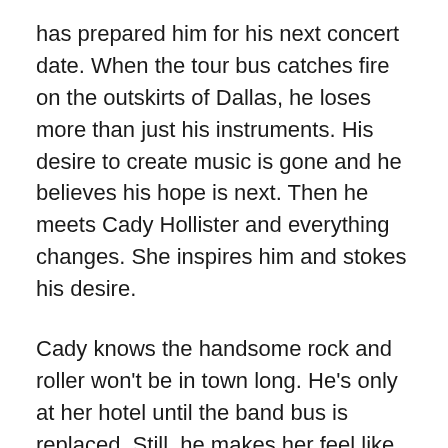has prepared him for his next concert date. When the tour bus catches fire on the outskirts of Dallas, he loses more than just his instruments. His desire to create music is gone and he believes his hope is next. Then he meets Cady Hollister and everything changes. She inspires him and stokes his desire.
Cady knows the handsome rock and roller won't be in town long. He's only at her hotel until the band bus is replaced. Still, he makes her feel like a woman again—sexy, desirable and beautiful. He claims he wants her in his life as more than a passing fancy. Can he convince her to five him a try or will his fame keep them from finding the love they both deserve?
Love could be his salvation, if he's willing to work for the